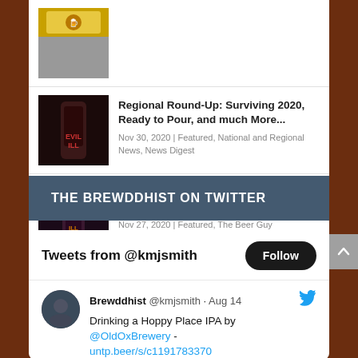[Figure (photo): Thumbnail image for first article (partially visible, colorful/badge-like)]
Regional Round-Up: Surviving 2020, Ready to Pour, and much More...
Nov 30, 2020 | Featured, National and Regional News, News Digest
[Figure (photo): Thumbnail image for second article (dark tones, beer/bottle)]
Barleywine: Thriving Seasonal, or Dying Style?
Nov 27, 2020 | Featured, The Beer Guy
THE BREWDDHIST ON TWITTER
Tweets from @kmjsmith
Brewddhist @kmjsmith · Aug 14
Drinking a Hoppy Place IPA by @OldOxBrewery - untp.beer/s/c1191783370